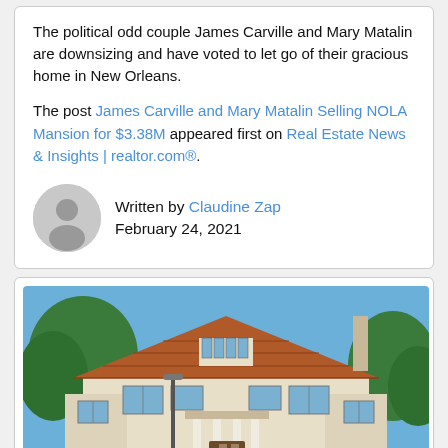The political odd couple James Carville and Mary Matalin are downsizing and have voted to let go of their gracious home in New Orleans.
The post James Carville and Mary Matalin Selling NOLA Mansion for $3.38M appeared first on Real Estate News & Insights | realtor.com®.
Written by Claudine Zap
February 24, 2021
[Figure (photo): Exterior photo of a large two-story mansion with terracotta tile roof, white stucco walls, multiple white-framed windows, a central dormer window, columned entry, and surrounded by green trees under a blue sky.]